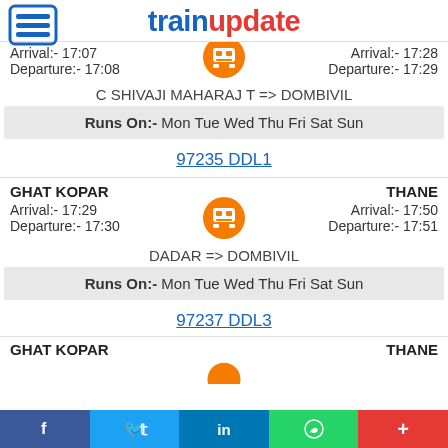trainupdate
Arrival:- 17:07
Departure:- 17:08
Arrival:- 17:28
Departure:- 17:29
C SHIVAJI MAHARAJ T => DOMBIVIL
Runs On:- Mon Tue Wed Thu Fri Sat Sun
97235 DDL1
GHAT KOPAR
THANE
Arrival:- 17:29
Departure:- 17:30
Arrival:- 17:50
Departure:- 17:51
DADAR => DOMBIVIL
Runs On:- Mon Tue Wed Thu Fri Sat Sun
97237 DDL3
GHAT KOPAR
THANE